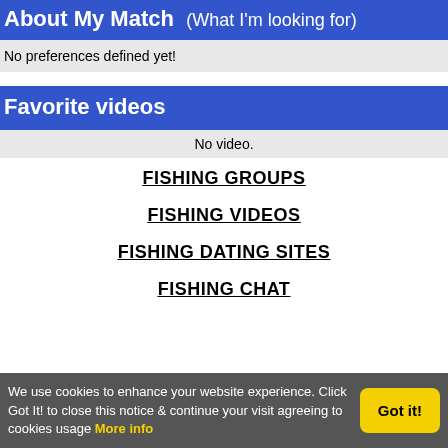About My Match (What I'm looking for)
No preferences defined yet!
Favorite videos
No video.
FISHING GROUPS
FISHING VIDEOS
FISHING DATING SITES
FISHING CHAT
We use cookies to enhance your website experience. Click Got It! to close this notice & continue your visit agreeing to cookies usage More info